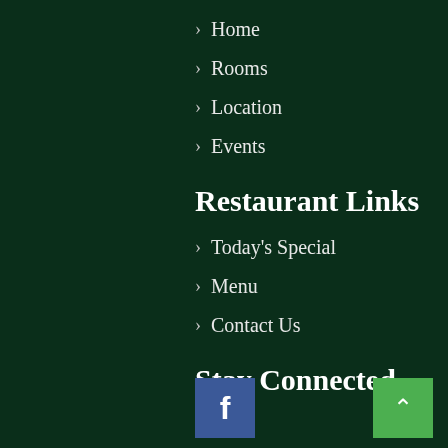> Home
> Rooms
> Location
> Events
Restaurant Links
> Today's Special
> Menu
> Contact Us
Stay Connected
[Figure (other): Facebook icon button (blue square with white 'f')]
[Figure (other): Scroll to top button (green square with white upward chevron)]